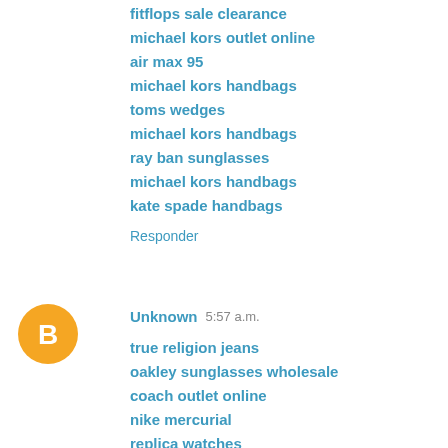fitflops sale clearance
michael kors outlet online
air max 95
michael kors handbags
toms wedges
michael kors handbags
ray ban sunglasses
michael kors handbags
kate spade handbags
Responder
Unknown  5:57 a.m.
true religion jeans
oakley sunglasses wholesale
coach outlet online
nike mercurial
replica watches
coach outlet
oakley sunglasses
ralph lauren polo
coach handbags outlet